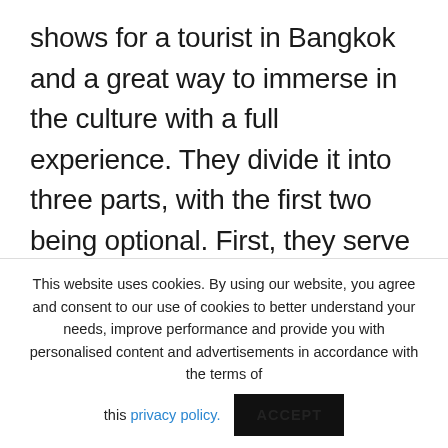shows for a tourist in Bangkok and a great way to immerse in the culture with a full experience. They divide it into three parts, with the first two being optional. First, they serve traditional Thai food carefully thought out for foreigners, so you won't find anything spicy here, ideal for kids. Then, at the theater courtyard, they host several activities to engage with and are ideal for taking photos in
This website uses cookies. By using our website, you agree and consent to our use of cookies to better understand your needs, improve performance and provide you with personalised content and advertisements in accordance with the terms of this privacy policy.